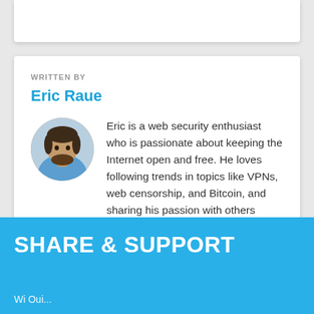WRITTEN BY
Eric Raue
[Figure (photo): Circular portrait photo of Eric Raue, a young man with dark hair and beard wearing a light blue shirt]
Eric is a web security enthusiast who is passionate about keeping the Internet open and free. He loves following trends in topics like VPNs, web censorship, and Bitcoin, and sharing his passion with others through his writing.
SHARE & SUPPORT
Wi Oui...